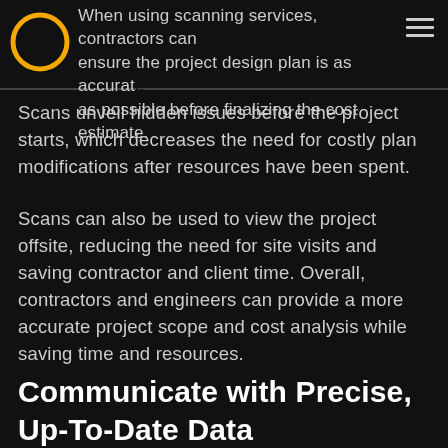When using scanning services, contractors can ensure the project design plan is as accurate as possible before finalizing the cost estimate.
Scans unveil hidden issues before the project starts, which decreases the need for costly plan modifications after resources have been spent.
Scans can also be used to view the project offsite, reducing the need for site visits and saving contractor and client time. Overall, contractors and engineers can provide a more accurate project scope and cost analysis while saving time and resources.
Communicate with Precise, Up-To-Date Data